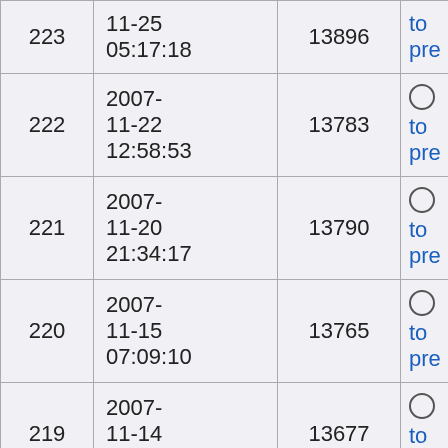| # | Date | Size | Action |
| --- | --- | --- | --- |
| 223 | 11-25 05:17:18 | 13896 | to pre |
| 222 | 2007-11-22 12:58:53 | 13783 | ○ to pre |
| 221 | 2007-11-20 21:34:17 | 13790 | ○ to pre |
| 220 | 2007-11-15 07:09:10 | 13765 | ○ to pre |
| 219 | 2007-11-14 22:41:31 | 13677 | ○ to pre |
| 218 | 2007-11-14 19:59:58 | 13698 | ○ to pre |
|  | 2007- |  | ○ |